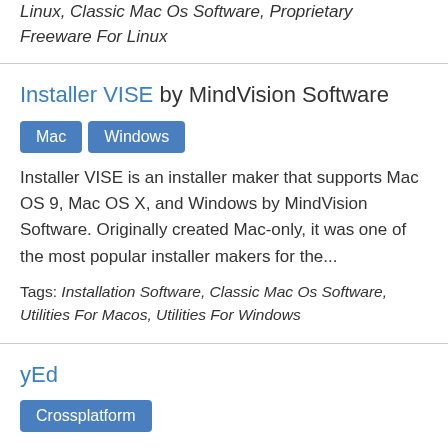Linux, Classic Mac Os Software, Proprietary Freeware For Linux
Installer VISE by MindVision Software
Mac
Windows
Installer VISE is an installer maker that supports Mac OS 9, Mac OS X, and Windows by MindVision Software. Originally created Mac-only, it was one of the most popular installer makers for the...
Tags: Installation Software, Classic Mac Os Software, Utilities For Macos, Utilities For Windows
yEd
Crossplatform
yEd is a free general-purpose diagramming program with a multi-document interface. It